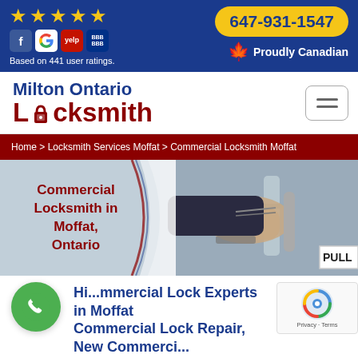★★★★★ | 647-931-1547 | Based on 441 user ratings. | Proudly Canadian
Milton Ontario Locksmith
Home > Locksmith Services Moffat > Commercial Locksmith Moffat
[Figure (photo): A locksmith's hand picking a lock on a commercial door handle with a 'PULL' sign visible]
Commercial Locksmith in Moffat, Ontario
Hi... Commercial Lock Experts in Moffat Commercial Lock Repair, New Commercial Lock Installation, Changing Out The Old...